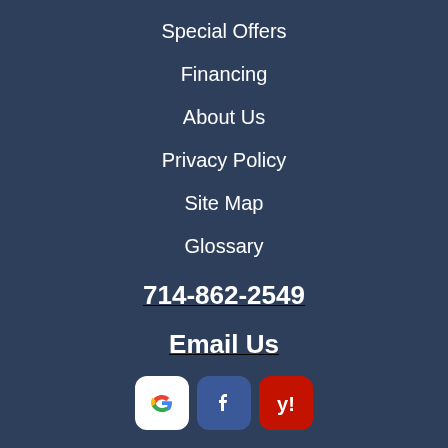Special Offers
Financing
About Us
Privacy Policy
Site Map
Glossary
714-862-2549
Email Us
[Figure (logo): Social media icons: Google, Facebook, Yelp]